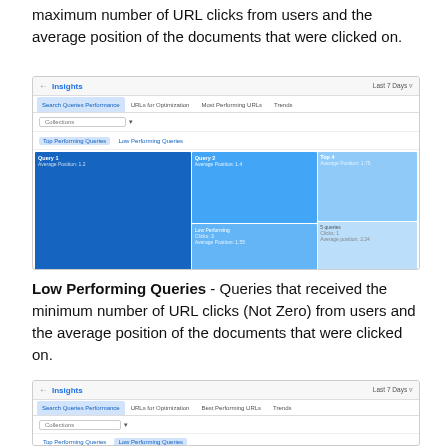maximum number of URL clicks from users and the average position of the documents that were clicked on.
[Figure (screenshot): Screenshot of Insights dashboard showing Search Queries Performance tab with a treemap visualization of top performing queries in shades of blue.]
Low Performing Queries - Queries that received the minimum number of URL clicks (Not Zero) from users and the average position of the documents that were clicked on.
[Figure (screenshot): Screenshot of Insights dashboard showing Search Queries Performance tab with Low Performing Queries sub-tab selected, showing a table with orange/red bars.]